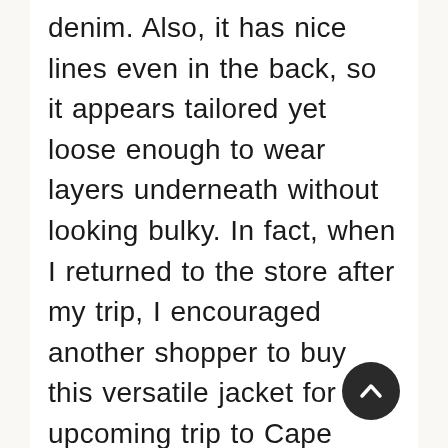denim. Also, it has nice lines even in the back, so it appears tailored yet loose enough to wear layers underneath without looking bulky. In fact, when I returned to the store after my trip, I encouraged another shopper to buy this versatile jacket for her upcoming trip to Cape Cod. So happy to have found your blog and Christopher & Banks – both have great looks for women our age.